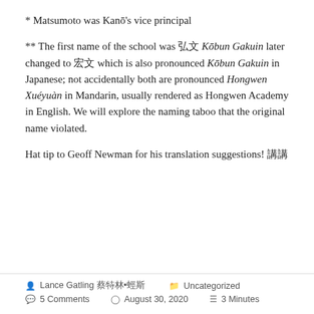* Matsumoto was Kanō's vice principal
** The first name of the school was 弘文 Kōbun Gakuin later changed to 宏文 which is also pronounced Kōbun Gakuin in Japanese; not accidentally both are pronounced Hongwen Xuéyuàn in Mandarin, usually rendered as Hongwen Academy in English. We will explore the naming taboo that the original name violated.
Hat tip to Geoff Newman for his translation suggestions! 謝謝
Lance Gatling 蓋特林•蘭斯  Uncategorized  5 Comments  August 30, 2020  3 Minutes